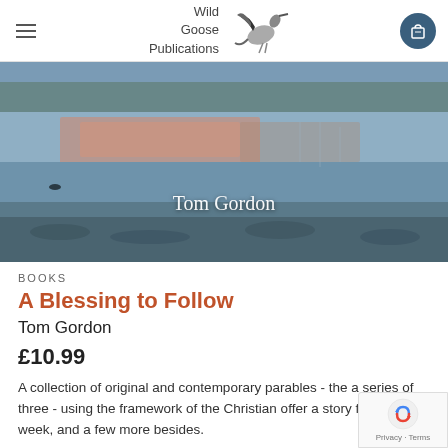Wild Goose Publications
[Figure (photo): Hero banner photo of a coastal/lake scene at dusk with pink reflections on water and rocky foreground. Text overlay reads 'Tom Gordon'.]
BOOKS
A Blessing to Follow
Tom Gordon
£10.99
A collection of original and contemporary parables - the a series of three - using the framework of the Christian offer a story for every week, and a few more besides.